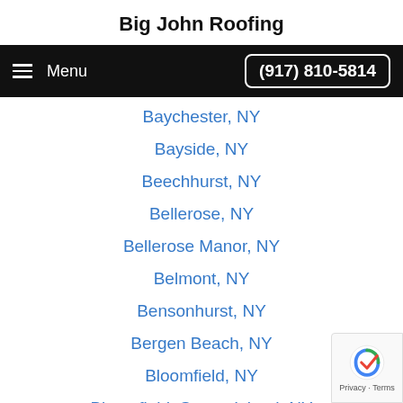Big John Roofing
Menu  (917) 810-5814
Baychester, NY
Bayside, NY
Beechhurst, NY
Bellerose, NY
Bellerose Manor, NY
Belmont, NY
Bensonhurst, NY
Bergen Beach, NY
Bloomfield, NY
Bloomfield, Staten Island, NY
Boerum Hill, NY
Borough Park, NY